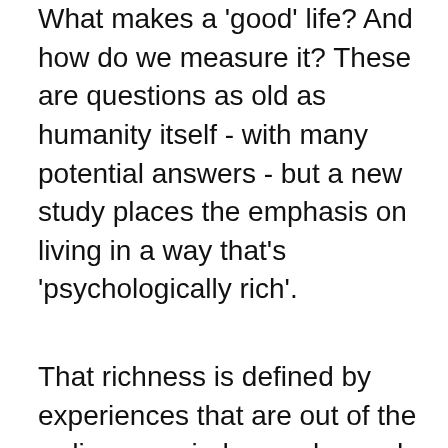What makes a 'good' life? And how do we measure it? These are questions as old as humanity itself - with many potential answers - but a new study places the emphasis on living in a way that's 'psychologically rich'.
That richness is defined by experiences that are out of the ordinary, varied, complex and –